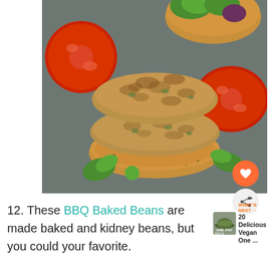[Figure (photo): Two stacked bean/veggie burger patties on a bun bottom, surrounded by tomato slices, greens/arugula leaves, on a slate surface. In the background is a bun top with green lettuce.]
12. These BBQ Baked Beans are made baked and kidney beans, but you could your favorite.